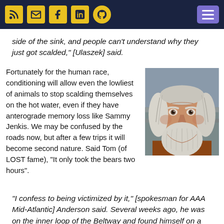[social media icons: RSS, email, Facebook, LinkedIn, GitHub] [hamburger menu]
side of the sink, and people can't understand why they just got scalded," [Ulaszek] said.
Fortunately for the human race, conditioning will allow even the lowliest of animals to stop scalding themselves on the hot water, even if they have anterograde memory loss like Sammy Jenkis. We may be confused by the roads now, but after a few trips it will become second nature. Said Tom (of LOST fame), "It only took the bears two hours".
[Figure (photo): Elderly man with long white/gray beard and hair, wearing a brown shirt, photographed outdoors with stone wall in background.]
"I confess to being victimized by it," [spokesman for AAA Mid-Atlantic] Anderson said. Several weeks ago, he was on the inner loop of the Beltway and found himself on a ramp to I-95 toward Richmond. "I was like, 'Whoa! This is